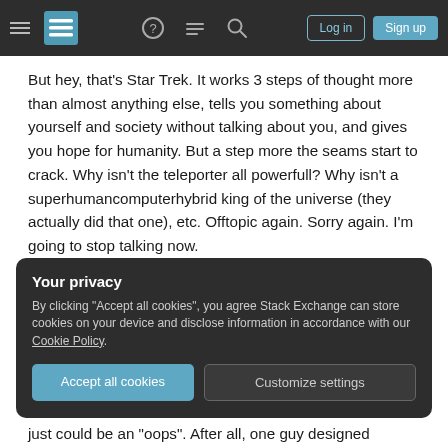Stack Exchange navigation bar with hamburger menu, logo, help, chat, search icons, Log in and Sign up buttons
But hey, that's Star Trek. It works 3 steps of thought more than almost anything else, tells you something about yourself and society without talking about you, and gives you hope for humanity. But a step more the seams start to crack. Why isn't the teleporter all powerfull? Why isn't a superhumancomputerhybrid king of the universe (they actually did that one), etc. Offtopic again. Sorry again. I'm going to stop talking now.
Your privacy
By clicking "Accept all cookies", you agree Stack Exchange can store cookies on your device and disclose information in accordance with our Cookie Policy.
just could be an "oops". After all, one guy designed